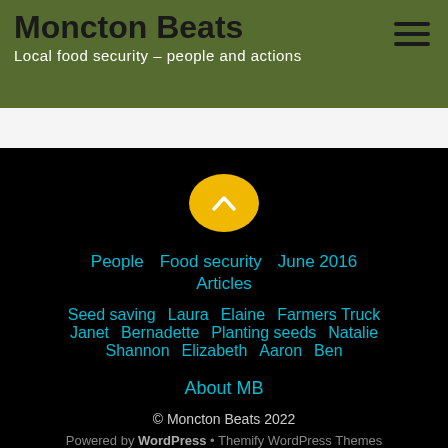Moncton Beats – Local food security – people and actions
[Figure (illustration): Yellow circular back-to-top button with white chevron/caret pointing upward, on black background]
People
Food security
June 2016
Articles
Seed saving
Laura
Elaine
Farmers Truck
Janet
Bernadette
Planting seeds
Natalie
Shannon
Elizabeth
Aaron
Ben
About MB
© Moncton Beats 2022
Powered by WordPress • Themify WordPress Themes